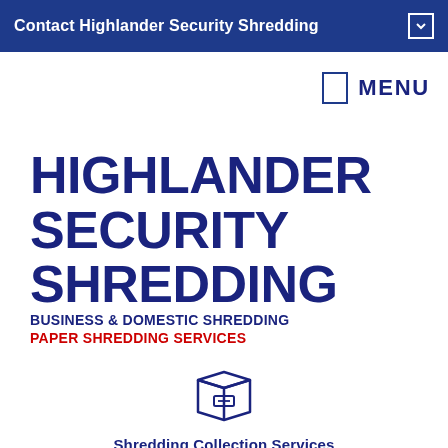Contact Highlander Security Shredding
MENU
HIGHLANDER SECURITY SHREDDING
BUSINESS & DOMESTIC SHREDDING
PAPER SHREDDING SERVICES
[Figure (illustration): Line art icon of a shredding collection box]
Shredding Collection Services